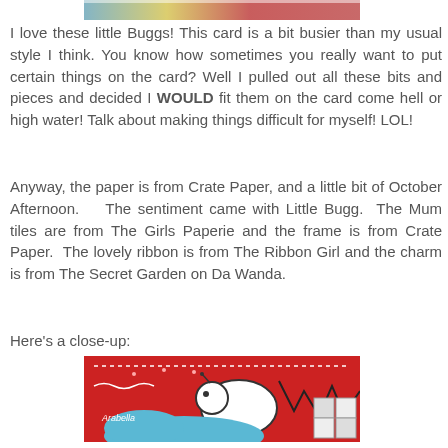[Figure (photo): Top portion of a crafting card image, partially cropped showing colorful decorations]
I love these little Buggs!  This card is a bit busier than my usual style I think.  You know how sometimes you really want to put certain things on the card?  Well I pulled out all these bits and pieces and decided I WOULD fit them on the card come hell or high water!  Talk about making things difficult for myself! LOL!
Anyway, the paper is from Crate Paper, and a little bit of October Afternoon.    The sentiment came with Little Bugg.  The Mum tiles are from The Girls Paperie and the frame is from Crate Paper.  The lovely ribbon is from The Ribbon Girl and the charm is from The Secret Garden on Da Wanda.
Here's a close-up:
[Figure (photo): Close-up photo of a crafting card showing a red background with a white bug/bugg character, decorative stitching, and text 'Arabella']